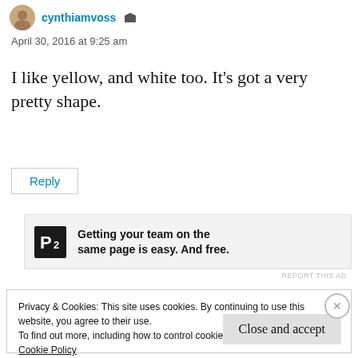cynthiamvoss
April 30, 2016 at 9:25 am
I like yellow, and white too. It’s got a very pretty shape.
Reply
[Figure (other): P2 advertisement banner: logo with letter P in a black square, text reading 'Getting your team on the same page is easy. And free.']
REPORT THIS AD
Privacy & Cookies: This site uses cookies. By continuing to use this website, you agree to their use.
To find out more, including how to control cookies, see here:
Cookie Policy
Close and accept